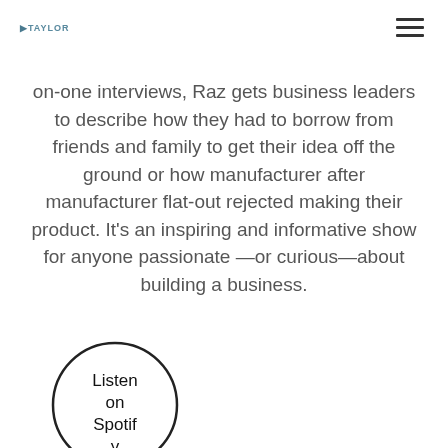GTAYLOR
on-one interviews, Raz gets business leaders to describe how they had to borrow from friends and family to get their idea off the ground or how manufacturer after manufacturer flat-out rejected making their product. It’s an inspiring and informative show for anyone passionate—or curious—about building a business.
[Figure (other): A circular button/badge with the text 'Listen on Spotify' inside a circle border]